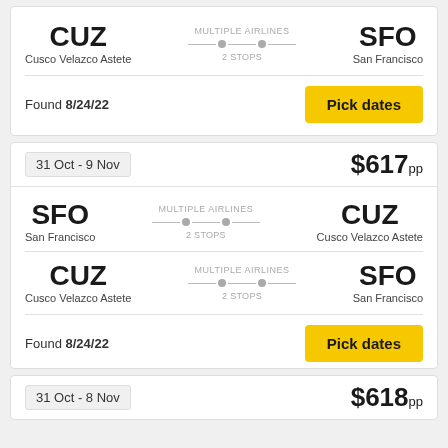[Figure (infographic): Flight listing card: CUZ (Cusco Velazco Astete) to SFO (San Francisco), Multiple Airlines, 2 Stops, Found 8/24/22, Pick dates button]
31 Oct - 9 Nov
$617pp
[Figure (infographic): Flight segment: SFO (San Francisco) to CUZ (Cusco Velazco Astete), Multiple Airlines, 2 Stops]
[Figure (infographic): Flight segment: CUZ (Cusco Velazco Astete) to SFO (San Francisco), Multiple Airlines, 2 Stops, Found 8/24/22, Pick dates button]
31 Oct - 8 Nov
$618pp